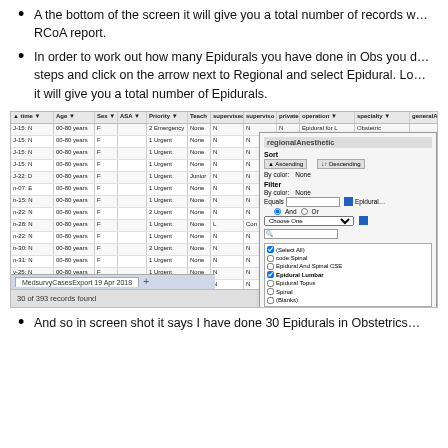A the bottom of the screen it will give you a total number of records w… RCoA report.
In order to work out how many Epidurals you have done in Obs you d… steps and click on the arrow next to Regional and select Epidural. Lo… it will give you a total number of Epidurals.
[Figure (screenshot): Screenshot of a spreadsheet application (MedsurvyCasesExport) showing patient case data with columns for time, age, sex, ASA, priority, teach, supervised, private, operation, specialty, generalAn, regionalAn, neglected, regOutco, catheter, proced. A filter panel is open on the right side showing sort options (Ascending/Descending), filter by color, and a checkbox list including: (Select All), code:Spinal, Epidural And Spinal CSE, Epidural Lumbar (checked), Epidural Topus, Spinal, (Blanks). The status bar at bottom shows '30 of 393 records found'.]
And so in screen shot it says I have done 30 Epidurals in Obstetrics…